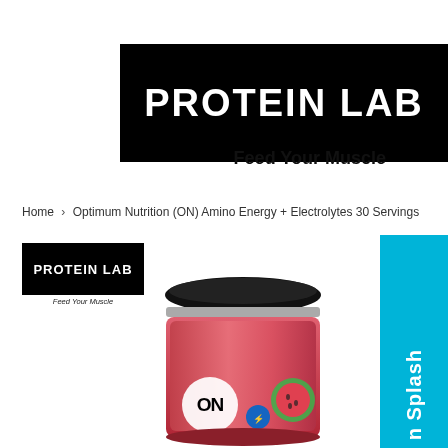[Figure (logo): Protein Lab logo — white bold text 'PROTEIN LAB' on black rectangular banner background]
Feed Your Muscle
Home › Optimum Nutrition (ON) Amino Energy + Electrolytes 30 Servings
[Figure (logo): Small Protein Lab logo — white bold text 'PROTEIN LAB' on black rectangle with tagline 'Feed Your Muscle' below]
[Figure (photo): Optimum Nutrition (ON) Amino Energy + Electrolytes supplement tub, watermelon splash flavor, showing top and label with ON logo and watermelon imagery]
[Figure (other): Cyan/turquoise vertical side banner with white rotated text reading 'n Splash']